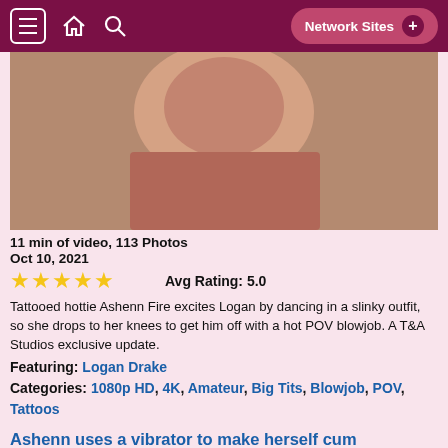Network Sites +
[Figure (photo): Close-up photo of a tattooed woman with pink/orange hair performing a sexual act]
11 min of video, 113 Photos
Oct 10, 2021
★★★★★  Avg Rating: 5.0
Tattooed hottie Ashenn Fire excites Logan by dancing in a slinky outfit, so she drops to her knees to get him off with a hot POV blowjob. A T&A Studios exclusive update.
Featuring: Logan Drake
Categories: 1080p HD, 4K, Amateur, Big Tits, Blowjob, POV, Tattoos
Ashenn uses a vibrator to make herself cum
[Figure (photo): Partial thumbnail of next video]